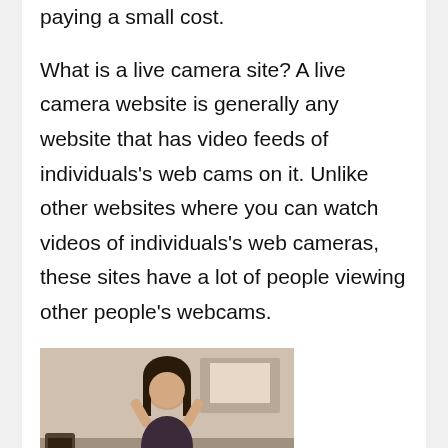those feeds for free and chat with them by paying a small cost.
What is a live camera site? A live camera website is generally any website that has video feeds of individuals's web cams on it. Unlike other websites where you can watch videos of individuals's web cameras, these sites have a lot of people viewing other people's webcams.
[Figure (photo): A person sitting and posing in front of a webcam in a room with various objects visible in the background.]